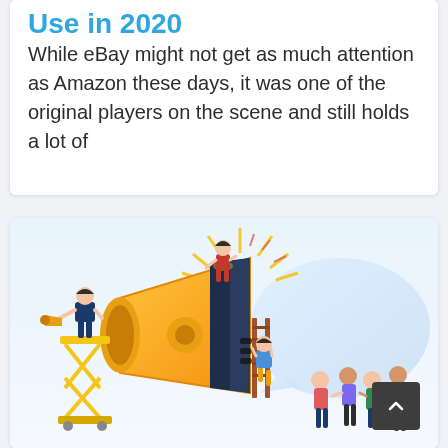Use in 2020
While eBay might not get as much attention as Amazon these days, it was one of the original players on the scene and still holds a lot of
[Figure (illustration): Flat style illustration of people with a large megaphone/loudspeaker. A woman sits on top of the megaphone, a man stands on a scissor lift holding a small megaphone, a woman climbs a ladder on the side of the megaphone, and a group of people stand to the right. A large speech bubble appears behind the megaphone. Golden/yellow sunburst lines radiate from the top of the megaphone.]